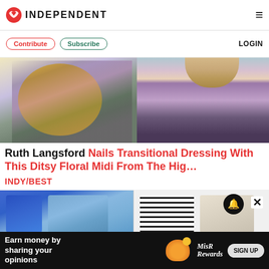INDEPENDENT
Contribute  Subscribe  LOGIN
[Figure (photo): Two photos side by side: left shows a floral midi dress on a mannequin with yellow circle background; right shows Ruth Langsford wearing the same floral dress on a TV set]
Ruth Langsford Nails Transitional Dressing With This Ditsy Floral Midi From The Hig…
INDY/BEST
[Figure (photo): Two product images: left shows a blue cardigan and floral blouse; right shows a striped top and beige jacket]
Earn money by sharing your opinions  SIGN UP